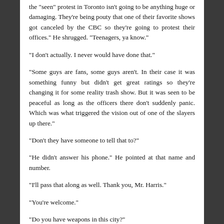the "seen" protest in Toronto isn't going to be anything huge or damaging. They're being pouty that one of their favorite shows got canceled by the CBC so they're going to protest their offices." He shrugged. "Teenagers, ya know."
"I don't actually. I never would have done that."
"Some guys are fans, some guys aren't. In their case it was something funny but didn't get great ratings so they're changing it for some reality trash show. But it was seen to be peaceful as long as the officers there don't suddenly panic. Which was what triggered the vision out of one of the slayers up there."
"Don't they have someone to tell that to?"
"He didn't answer his phone." He pointed at that name and number.
"I'll pass that along as well. Thank you, Mr. Harris."
"You're welcome."
"Do you have weapons in this city?"
He grinned. "Inspector Thatcher, we are weapons designers. It's how we afford to eat delicious cake now and then." He walked off, putting back on his sunglasses